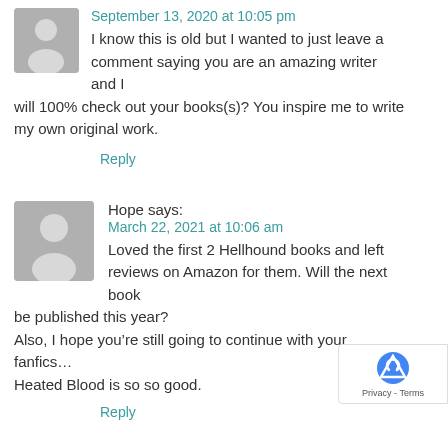September 13, 2020 at 10:05 pm
I know this is old but I wanted to just leave a comment saying you are an amazing writer and I will 100% check out your books(s)? You inspire me to write my own original work.
Reply
Hope says:
March 22, 2021 at 10:06 am
Loved the first 2 Hellhound books and left reviews on Amazon for them. Will the next book be published this year?
Also, I hope you’re still going to continue with your fanfics… Heated Blood is so so good.
Reply
Susan Amund says:
March 26, 2021 at 5:59 pm